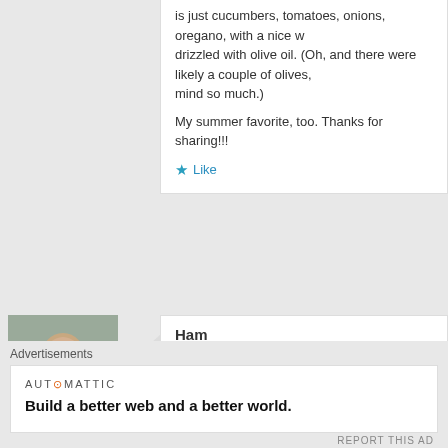is just cucumbers, tomatoes, onions, oregano, with a nice w... drizzled with olive oil. (Oh, and there were likely a couple of olives, ... mind so much.)
My summer favorite, too. Thanks for sharing!!!
Like
Ham
yum 🙂
Like
tlbflowllc
This looks like something Lisa and I will have to try sometime!
I differ with you on the olives, though. I'd eat them all day if it wasn't... ha.
Advertisements
AUTOMATTIC
Build a better web and a better world.